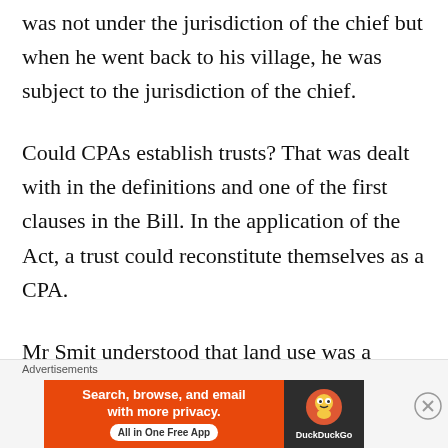was not under the jurisdiction of the chief but when he went back to his village, he was subject to the jurisdiction of the chief.
Could CPAs establish trusts? That was dealt with in the definitions and one of the first clauses in the Bill. In the application of the Act, a trust could reconstitute themselves as a CPA.
Mr Smit understood that land use was a separate matter altogether, but there was no reference at all to land use and there
Advertisements
[Figure (infographic): DuckDuckGo advertisement banner: orange background with text 'Search, browse, and email with more privacy. All in One Free App' and DuckDuckGo logo on dark background]